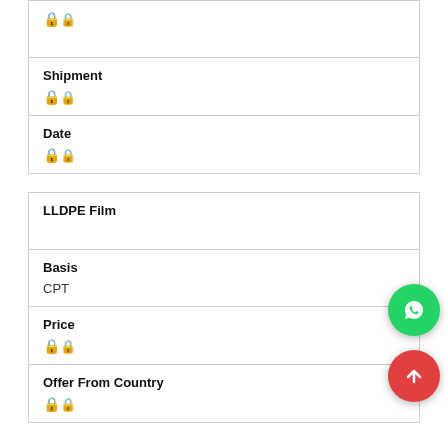| 🔒 |
| Shipment | 🔒 |
| Date | 🔒 |
| LLDPE Film |
| Basis | CPT |
| Price | 🔒 |
| Offer From Country | 🔒 |